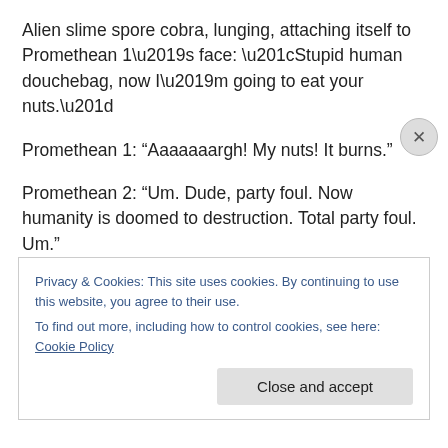Alien slime spore cobra, lunging, attaching itself to Promethean 1’s face: “Stupid human douchebag, now I’m going to eat your nuts.”
Promethean 1: “Aaaaaaargh! My nuts! It burns.”
Promethean 2: “Um. Dude, party foul. Now humanity is doomed to destruction. Total party foul. Um.”
You’ll never guess what happens next! The so clever Prometheus crew brings the slime monsters on board their floating space-home to see if they’ll make decent
Privacy & Cookies: This site uses cookies. By continuing to use this website, you agree to their use.
To find out more, including how to control cookies, see here: Cookie Policy